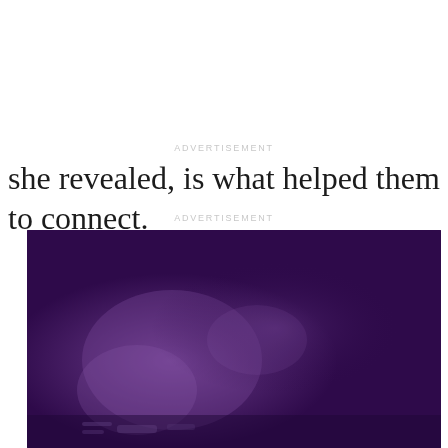ADVERTISEMENT
she revealed, is what helped them to connect.
ADVERTISEMENT
[Figure (photo): Dark purple blurred background image, likely a video advertisement placeholder with some faint lighter areas suggesting an out-of-focus scene.]